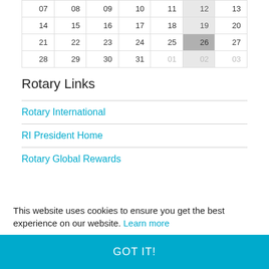| 07 | 08 | 09 | 10 | 11 | 12 | 13 |
| --- | --- | --- | --- | --- | --- | --- |
| 14 | 15 | 16 | 17 | 18 | 19 | 20 |
| 21 | 22 | 23 | 24 | 25 | 26 | 27 |
| 28 | 29 | 30 | 31 | 01 | 02 | 03 |
Rotary Links
Rotary International
RI President Home
Rotary Global Rewards
This website uses cookies to ensure you get the best experience on our website. Learn more
GOT IT!